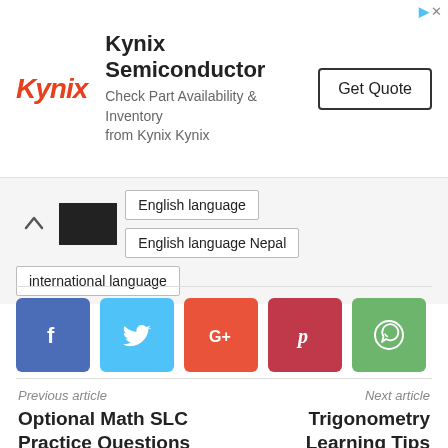[Figure (other): Kynix Semiconductor advertisement banner with logo, text 'Check Part Availability & Inventory from Kynix Kynix', and 'Get Quote' button]
English language | English language Nepal | international language
[Figure (other): Social share buttons: Facebook, Twitter, Google+, Pinterest, WhatsApp]
Previous article
Optional Math SLC Practice Questions
Next article
Trigonometry Learning Tips